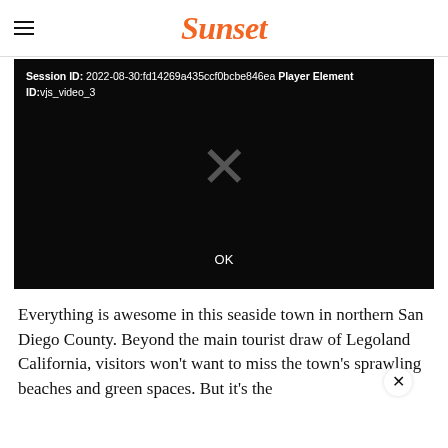Sunset
[Figure (screenshot): Video player error screen showing Session ID: 2022-08-30:fd14269a435ccf0bcbe846ea Player Element ID:vjs_video_3, a large X symbol in the center, and an OK button at the bottom, all on a black background.]
Everything is awesome in this seaside town in northern San Diego County. Beyond the main tourist draw of Legoland California, visitors won't want to miss the town's sprawling beaches and green spaces. But it's the